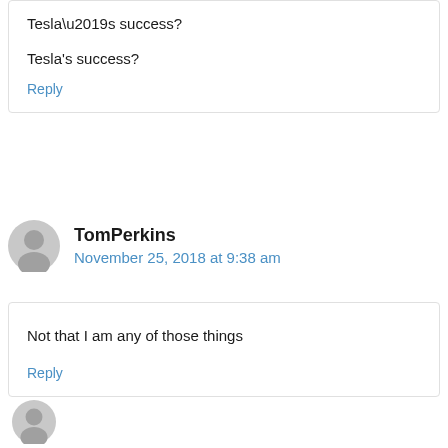Tesla’s success?
Reply
TomPerkins
November 25, 2018 at 9:38 am
Not that I am any of those things
Reply